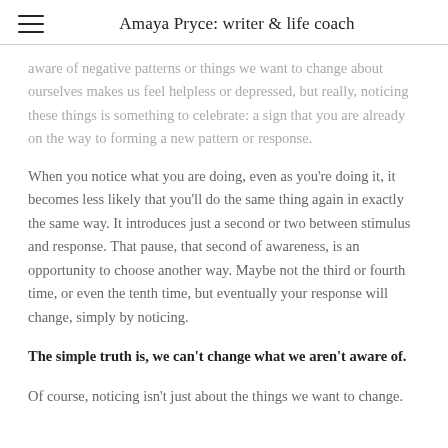Amaya Pryce: writer & life coach
aware of negative patterns or things we want to change about ourselves makes us feel helpless or depressed, but really, noticing these things is something to celebrate: a sign that you are already on the way to forming a new pattern or response.
When you notice what you are doing, even as you're doing it, it becomes less likely that you'll do the same thing again in exactly the same way. It introduces just a second or two between stimulus and response. That pause, that second of awareness, is an opportunity to choose another way. Maybe not the third or fourth time, or even the tenth time, but eventually your response will change, simply by noticing.
The simple truth is, we can't change what we aren't aware of.
Of course, noticing isn't just about the things we want to change.